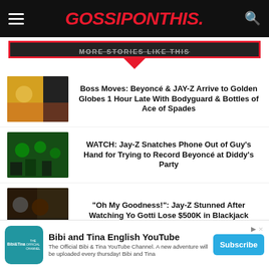GOSSIPONTHIS.
MORE STORIES LIKE THIS
Boss Moves: Beyoncé & JAY-Z Arrive to Golden Globes 1 Hour Late With Bodyguard & Bottles of Ace of Spades
[Figure (photo): Beyoncé and Jay-Z at the Golden Globes]
WATCH: Jay-Z Snatches Phone Out of Guy's Hand for Trying to Record Beyoncé at Diddy's Party
[Figure (photo): Jay-Z at a party in green-lit room]
"Oh My Goodness!": Jay-Z Stunned After Watching Yo Gotti Lose $500K in Blackjack
[Figure (photo): Jay-Z at an awards show looking stunned]
Bibi and Tina English YouTube
The Official Bibi & Tina YouTube Channel. A new adventure will be uploaded every thursday! Bibi and Tina